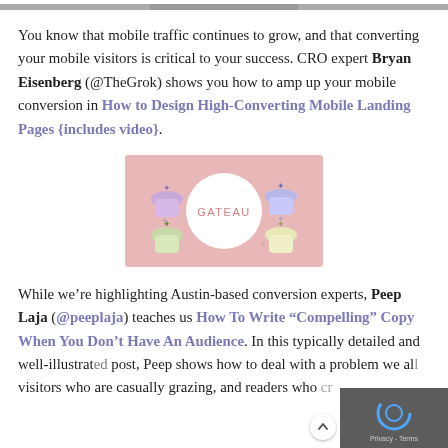[Figure (screenshot): Partial image visible at top of page, cropped]
You know that mobile traffic continues to grow, and that converting your mobile visitors is critical to your success. CRO expert Bryan Eisenberg (@TheGrok) shows you how to amp up your mobile conversion in How to Design High-Converting Mobile Landing Pages {includes video}.
[Figure (illustration): Pink background image with cupcakes and a white circle in the center showing the word GATEAU in pink text]
While we’re highlighting Austin-based conversion experts, Peep Laja (@peeplaja) teaches us How To Write “Compelling” Copy When You Don’t Have An Audience. In this typically detailed and well-illustrated post, Peep shows how to deal with a problem we all face: visitors who are casually grazing, and readers who cr—